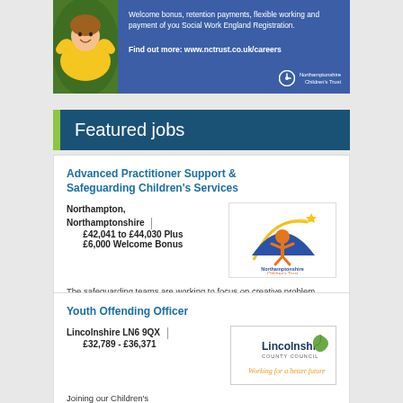[Figure (photo): Banner advertisement for Northamptonshire Children's Trust featuring a child in a yellow jacket lying on grass, with blue panel text: Welcome bonus, retention payments, flexible working and payment of you Social Work England Registration. Find out more: www.nctrust.co.uk/careers]
Featured jobs
Advanced Practitioner Support & Safeguarding Children's Services
Northampton, Northamptonshire | £42,041 to £44,030 Plus £6,000 Welcome Bonus
[Figure (logo): Northamptonshire Children's Trust logo with orange figure and star]
The safeguarding teams are working to focus on creative problem solving and keeping children and families together.
Youth Offending Officer
Lincolnshire LN6 9QX | £32,789 - £36,371
[Figure (logo): Lincolnshire County Council logo - Working for a better future]
Joining our Children's Services Future4me team as